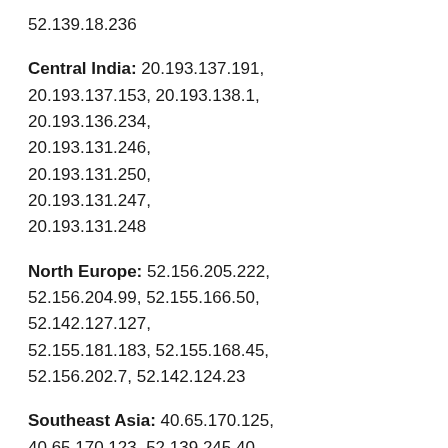52.139.18.236
Central India: 20.193.137.191, 20.193.137.153, 20.193.138.1, 20.193.136.234, 20.193.131.246, 20.193.131.250, 20.193.131.247, 20.193.131.248
North Europe: 52.156.205.222, 52.156.204.99, 52.155.166.50, 52.142.127.127, 52.155.181.183, 52.155.168.45, 52.156.202.7, 52.142.124.23
Southeast Asia: 40.65.170.125, 40.65.170.123, 52.139.245.40, 52.139.245.48, 40.119.203.158, 40.119.203.209, 20.184.61.67, 20.184.60.77